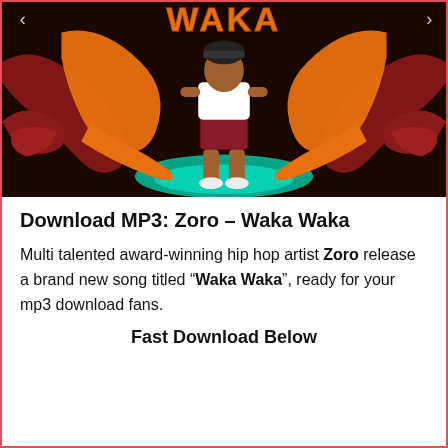[Figure (illustration): Animated/illustrated image showing a hip hop artist standing center with orange trumpet instruments on either side, dark background with teal spotlight glow at feet, orange 'WAKA' text at top]
Download MP3: Zoro – Waka Waka
Multi talented award-winning hip hop artist Zoro release a brand new song titled "Waka Waka", ready for your mp3 download fans.
Fast Download Below